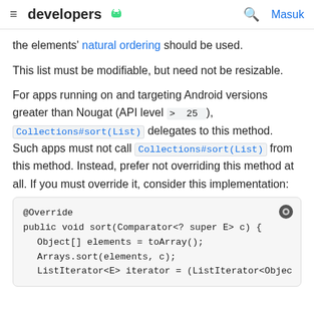≡ developers 🤖   🔍 Masuk
the elements' natural ordering should be used.
This list must be modifiable, but need not be resizable.
For apps running on and targeting Android versions greater than Nougat (API level > 25 ), Collections#sort(List) delegates to this method. Such apps must not call Collections#sort(List) from this method. Instead, prefer not overriding this method at all. If you must override it, consider this implementation:
[Figure (screenshot): Code block showing Java @Override sort method implementation with Comparator parameter, creating Object[] elements via toArray(), calling Arrays.sort(elements, c), and a ListIterator<E> iterator line.]